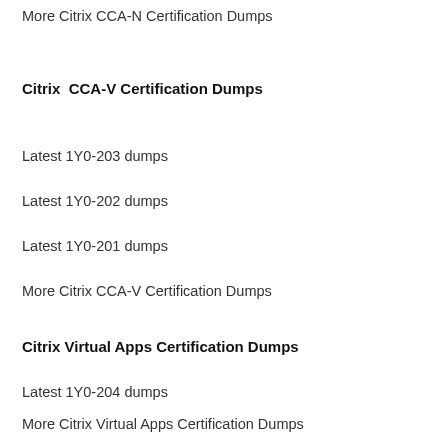More Citrix CCA-N Certification Dumps
Citrix  CCA-V Certification Dumps
Latest 1Y0-203 dumps
Latest 1Y0-202 dumps
Latest 1Y0-201 dumps
More Citrix CCA-V Certification Dumps
Citrix Virtual Apps Certification Dumps
Latest 1Y0-204 dumps
More Citrix Virtual Apps Certification Dumps
Citrix  NetScaler Certification Dumps